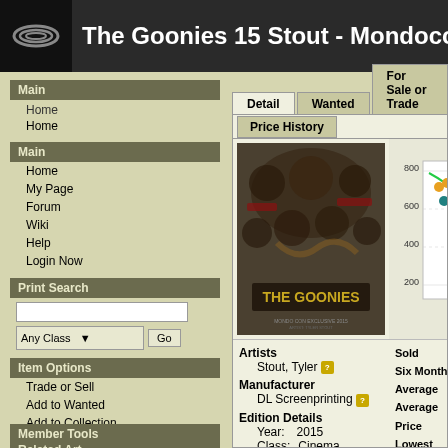The Goonies 15 Stout - Mondocon Va
Main
Home
My Page
Forum
Wiki
Help
Login Now
Print Search
Item Options
Trade or Sell
Add to Wanted
Add to Collection
Related Art
Member Tools
[Figure (screenshot): The Goonies movie poster art by Tyler Stout, dark collage style]
[Figure (scatter-plot): Sales history scatter plot with orange and teal dots and green trend curve, x-axis dates 14.05.13, 15.12.13, 17.07.13, y-axis 200-800]
Artists
Stout, Tyler
Manufacturer
DL Screenprinting
Edition Details
Year: 2015
Class: Cinema
Sold
Six Month Average
Average Price
Lowest Price
Highest Price
Original Price
Collections